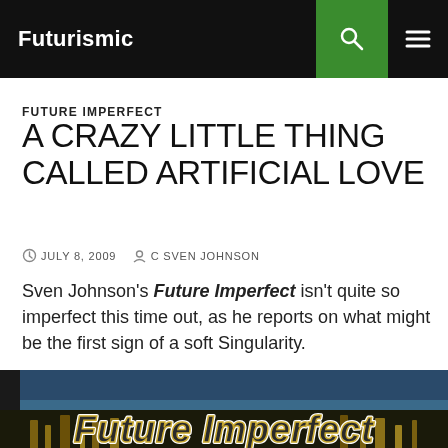Futurismic
FUTURE IMPERFECT
A CRAZY LITTLE THING CALLED ARTIFICIAL LOVE
JULY 8, 2009   C SVEN JOHNSON
Sven Johnson's Future Imperfect isn't quite so imperfect this time out, as he reports on what might be the first sign of a soft Singularity.
[Figure (illustration): Banner image with stylized text reading 'Future Imperfect' overlaid on a dark mechanical/industrial background with golden-lit machinery.]